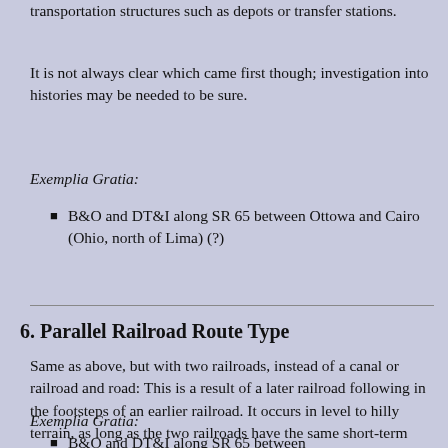transportation structures such as depots or transfer stations.
It is not always clear which came first though; investigation into histories may be needed to be sure.
Exemplia Gratia:
B&O and DT&I along SR 65 between Ottowa and Cairo (Ohio, north of Lima) (?)
6. Parallel Railroad Route Type
Same as above, but with two railroads, instead of a canal or railroad and road: This is a result of a later railroad following in the footsteps of an earlier railroad. It occurs in level to hilly terrain, as long as the two railroads have the same short-term destination.
Exemplia Gratia:
B&O and DT&I along SR 65 between